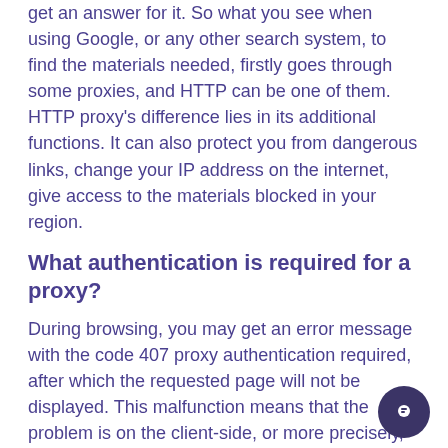get an answer for it. So what you see when using Google, or any other search system, to find the materials needed, firstly goes through some proxies, and HTTP can be one of them. HTTP proxy's difference lies in its additional functions. It can also protect you from dangerous links, change your IP address on the internet, give access to the materials blocked in your region.
What authentication is required for a proxy?
During browsing, you may get an error message with the code 407 proxy authentication required, after which the requested page will not be displayed. This malfunction means that the problem is on the client-side, or more precisely, on the proxy server. It acts as a bridge between the client and the web resource's server. The problem is solved as follows: enter the login and password that are used on the proxy server; Disable the proxy-server and connect the website directly; Disable VPN if you use it; apply another proxy server or VPN.
What are proxy settings?
Proxy settings are a link in the connection chain between your computer and server. They allow you to set the needed